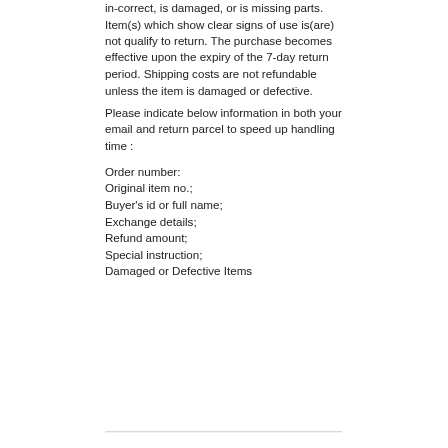in-correct, is damaged, or is missing parts. Item(s) which show clear signs of use is(are) not qualify to return. The purchase becomes effective upon the expiry of the 7-day return period. Shipping costs are not refundable unless the item is damaged or defective.
Please indicate below information in both your email and return parcel to speed up handling time :
Order number:
Original item no.;
Buyer's id or full name;
Exchange details;
Refund amount;
Special instruction;
Damaged or Defective Items